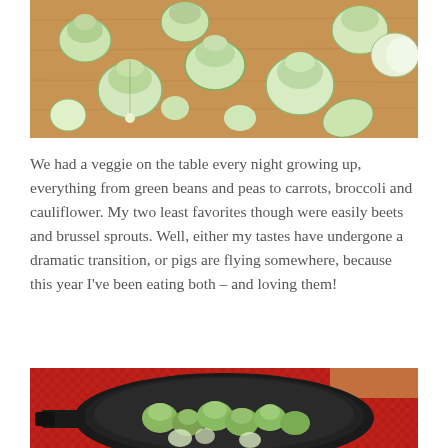[Figure (photo): Brussels sprouts halved and scattered on a wooden cutting board, viewed from above]
We had a veggie on the table every night growing up, everything from green beans and peas to carrots, broccoli and cauliflower. My two least favorites though were easily beets and brussel sprouts. Well, either my tastes have undergone a dramatic transition, or pigs are flying somewhere, because this year I've been eating both – and loving them!
[Figure (photo): Halved Brussels sprouts in a black cast iron skillet on a red textured cloth]